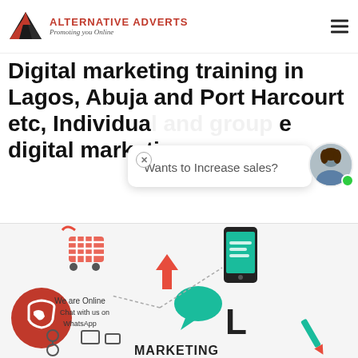ALTERNATIVE ADVERTS — Promoting you Online
Digital marketing training in Lagos, Abuja and Port Harcourt etc, Individual and group digital marketing course.
Wants to Increase sales?
[Figure (infographic): Digital marketing infographic showing a shopping cart, smartphone, chat bubble, WhatsApp button, and marketing icons with text 'We are Online Chat with us on WhatsApp' and 'MARKETING']